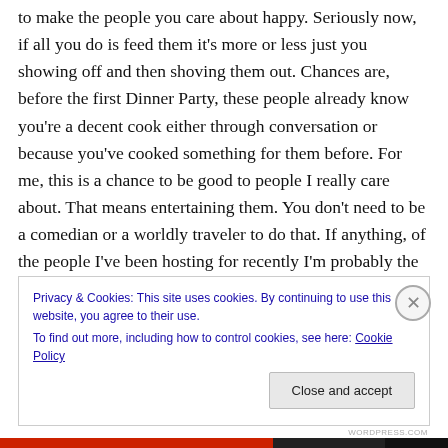to make the people you care about happy. Seriously now, if all you do is feed them it's more or less just you showing off and then shoving them out. Chances are, before the first Dinner Party, these people already know you're a decent cook either through conversation or because you've cooked something for them before. For me, this is a chance to be good to people I really care about. That means entertaining them. You don't need to be a comedian or a worldly traveler to do that. If anything, of the people I've been hosting for recently I'm probably the quieter one because I'm the newer friend. You just need to
Privacy & Cookies: This site uses cookies. By continuing to use this website, you agree to their use.
To find out more, including how to control cookies, see here: Cookie Policy
Close and accept